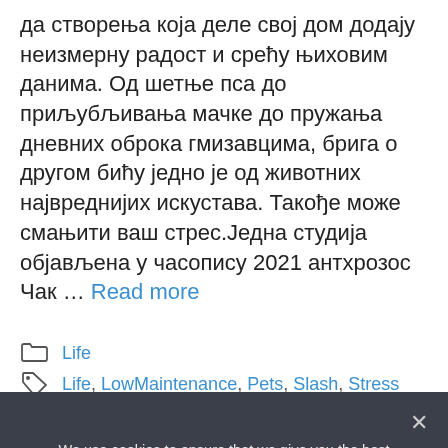да створења која деле свој дом додају неизмерну радост и срећу њиховим данима. Од шетње пса до примљубљивања мачке до пружања дневних оброка гмизавцима, брига о другом бићу једно је од животних највреднијих искустава. Такође може смањити ваш стрес.Једна студија објављена у часопису 2021 антхрозос Чак … Read more
Life
Life, LowMaintenance, Pets, Slash, Stress
We use cookies to ensure that we give you the best experience on our website. If you continue to use this site we will assume that you are happy with it.